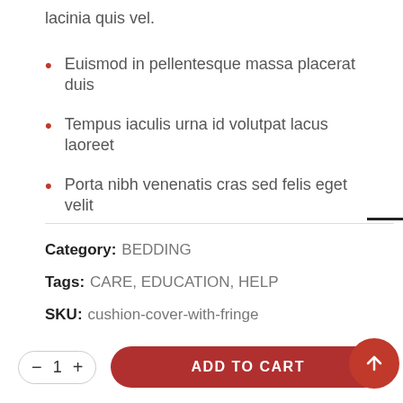lacinia quis vel.
Euismod in pellentesque massa placerat duis
Tempus iaculis urna id volutpat lacus laoreet
Porta nibh venenatis cras sed felis eget velit
Category:  BEDDING
Tags:  CARE, EDUCATION, HELP
SKU:  cushion-cover-with-fringe